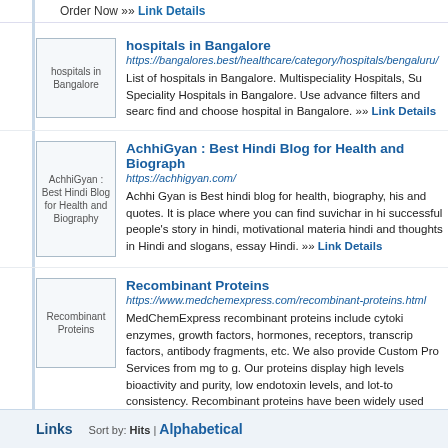Order Now »» Link Details
[Figure (illustration): Thumbnail image labeled 'hospitals in Bangalore']
hospitals in Bangalore
https://bangalores.best/healthcare/category/hospitals/bengaluru/
List of hospitals in Bangalore. Multispeciality Hospitals, Su Speciality Hospitals in Bangalore. Use advance filters and search find and choose hospital in Bangalore. »» Link Details
[Figure (illustration): Thumbnail image labeled 'AchhiGyan : Best Hindi Blog for Health and Biography']
AchhiGyan : Best Hindi Blog for Health and Biograph
https://achhigyan.com/
Achhi Gyan is Best hindi blog for health, biography, his and quotes. It is place where you can find suvichar in hi successful people's story in hindi, motivational materia hindi and thoughts in Hindi and slogans, essay Hindi. »» Link Details
[Figure (illustration): Thumbnail image labeled 'Recombinant Proteins']
Recombinant Proteins
https://www.medchemexpress.com/recombinant-proteins.html
MedChemExpress recombinant proteins include cytoki enzymes, growth factors, hormones, receptors, transcrip factors, antibody fragments, etc. We also provide Custom Pro Services from mg to g. Our proteins display high levels bioactivity and purity, low endotoxin levels, and lot-to consistency. Recombinant proteins have been widely used most hot research areas such as immune checkpoints, antib drug targets, CAR-T cell therapy targets, Fc receptors influenza viral proteins. »» Link Details
Links   Sort by: Hits | Alphabetical